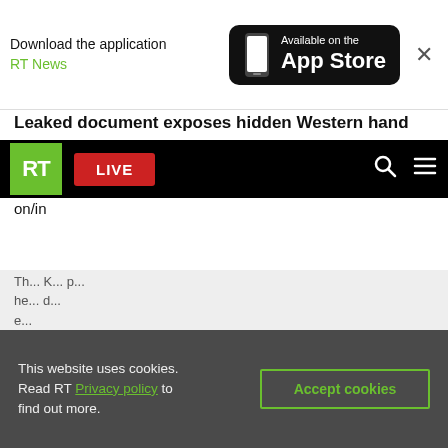[Figure (screenshot): App Store download banner with RT News text and App Store button]
Leaked document exposes hidden Western hand...
[Figure (screenshot): RT website navigation bar with logo, LIVE button, search and menu icons]
on/in...
This website uses cookies. Read RT Privacy policy to find out more.
Accept cookies